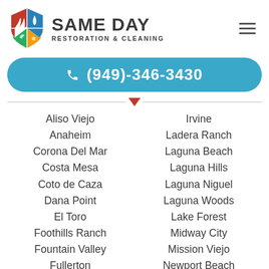[Figure (logo): Same Day Restoration & Cleaning logo with colorful shield icon and company name]
(949)-346-3430
Aliso Viejo
Anaheim
Corona Del Mar
Costa Mesa
Coto de Caza
Dana Point
El Toro
Foothills Ranch
Fountain Valley
Fullerton
Garden Grove
Huntington Beach
Irvine
Ladera Ranch
Laguna Beach
Laguna Hills
Laguna Niguel
Laguna Woods
Lake Forest
Midway City
Mission Viejo
Newport Beach
Orange
Orange County